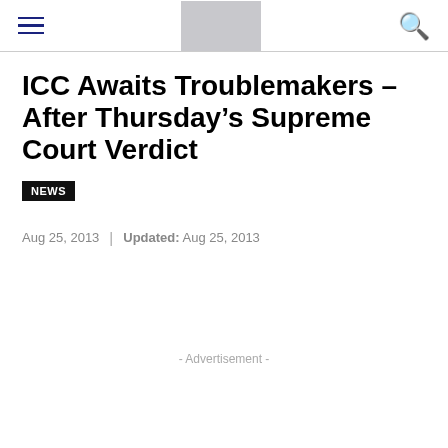[hamburger menu] [logo placeholder] [search icon]
ICC Awaits Troublemakers – After Thursday's Supreme Court Verdict
NEWS
Aug 25, 2013 | Updated: Aug 25, 2013
- Advertisement -